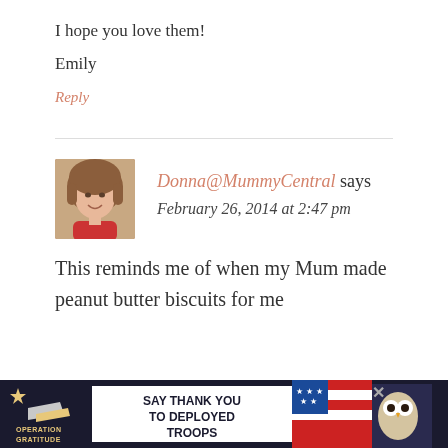I hope you love them!
Emily
Reply
Donna@MummyCentral says
February 26, 2014 at 2:47 pm
[Figure (photo): Avatar photo of a woman with brown hair wearing a red top, smiling]
This reminds me of when my Mum made peanut butter biscuits for me
[Figure (other): Advertisement banner: Operation Gratitude - Say Thank You to Deployed Troops, with patriotic imagery]